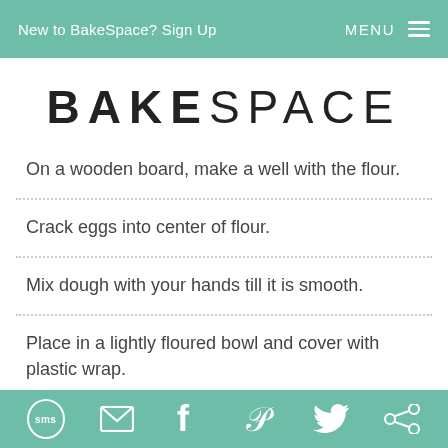New to BakeSpace? Sign Up   MENU
BAKESPACE
On a wooden board, make a well with the flour.
Crack eggs into center of flour.
Mix dough with your hands till it is smooth.
Place in a lightly floured bowl and cover with plastic wrap.
SMS  Email  Facebook  Pinterest  Twitter  Other